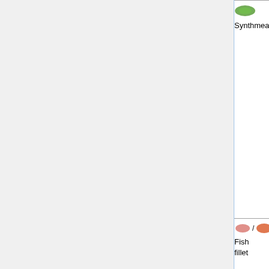| Item | Crafting | Icon | Description |
| --- | --- | --- | --- |
| Synthmeat | [plant icon] + [knife icon] | [meat icon] | food that is different from living beings. synthmeat... Or, in other ask a local Botanist |
| Fish fillet | [fish] + [knife] | [meat icon] | Different fish exist |
| Small fish fillet | [small fish] + [knife] | [meat icon] | Several fish exist Oshan... |
|  |  |  | Dubious value! similar implement used on critters their bo... |